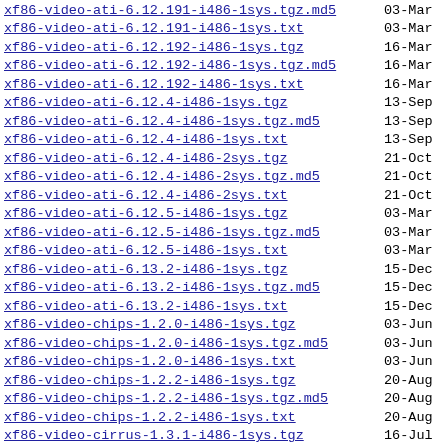xf86-video-ati-6.12.191-i486-1sys.tgz.md5  03-Mar
xf86-video-ati-6.12.191-i486-1sys.txt  03-Mar
xf86-video-ati-6.12.192-i486-1sys.tgz  16-Mar
xf86-video-ati-6.12.192-i486-1sys.tgz.md5  16-Mar
xf86-video-ati-6.12.192-i486-1sys.txt  16-Mar
xf86-video-ati-6.12.4-i486-1sys.tgz  13-Sep
xf86-video-ati-6.12.4-i486-1sys.tgz.md5  13-Sep
xf86-video-ati-6.12.4-i486-1sys.txt  13-Sep
xf86-video-ati-6.12.4-i486-2sys.tgz  21-Oct
xf86-video-ati-6.12.4-i486-2sys.tgz.md5  21-Oct
xf86-video-ati-6.12.4-i486-2sys.txt  21-Oct
xf86-video-ati-6.12.5-i486-1sys.tgz  03-Mar
xf86-video-ati-6.12.5-i486-1sys.tgz.md5  03-Mar
xf86-video-ati-6.12.5-i486-1sys.txt  03-Mar
xf86-video-ati-6.13.2-i486-1sys.tgz  15-Dec
xf86-video-ati-6.13.2-i486-1sys.tgz.md5  15-Dec
xf86-video-ati-6.13.2-i486-1sys.txt  15-Dec
xf86-video-chips-1.2.0-i486-1sys.tgz  03-Jun
xf86-video-chips-1.2.0-i486-1sys.tgz.md5  03-Jun
xf86-video-chips-1.2.0-i486-1sys.txt  03-Jun
xf86-video-chips-1.2.2-i486-1sys.tgz  20-Aug
xf86-video-chips-1.2.2-i486-1sys.tgz.md5  20-Aug
xf86-video-chips-1.2.2-i486-1sys.txt  20-Aug
xf86-video-cirrus-1.3.1-i486-1sys.tgz  16-Jul
xf86-video-cirrus-1.3.1-i486-1sys.tgz.md5  16-Jul
xf86-video-cirrus-1.3.1-i486-1sys.txt  16-Jul
xf86-video-cirrus-1.3.2-i486-1sys.tgz  06-Aug
xf86-video-cirrus-1.3.2-i486-1sys.tgz.md5  06-Aug
xf86-video-cirrus-1.3.2-i486-1sys.txt  06-Aug
xf86-video-cyrix-1.1.0-i486-1sys.tgz  03-Jun